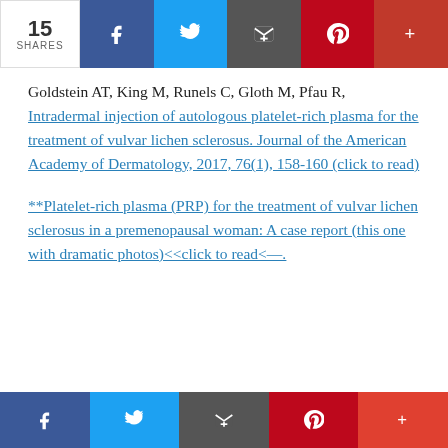15 SHARES | social share bar
Goldstein AT, King M, Runels C, Gloth M, Pfau R, Intradermal injection of autologous platelet-rich plasma for the treatment of vulvar lichen sclerosus. Journal of the American Academy of Dermatology, 2017, 76(1), 158-160 (click to read)
**Platelet-rich plasma (PRP) for the treatment of vulvar lichen sclerosus in a premenopausal woman: A case report (this one with dramatic photos)<<click to read<—.
social share bar bottom